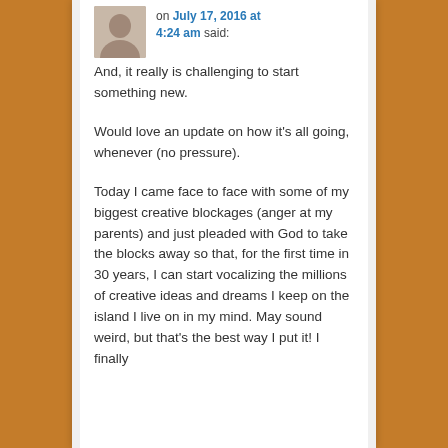on July 17, 2016 at 4:24 am said:
And, it really is challenging to start something new.
Would love an update on how it's all going, whenever (no pressure).
Today I came face to face with some of my biggest creative blockages (anger at my parents) and just pleaded with God to take the blocks away so that, for the first time in 30 years, I can start vocalizing the millions of creative ideas and dreams I keep on the island I live on in my mind. May sound weird, but that's the best way I put it! I finally